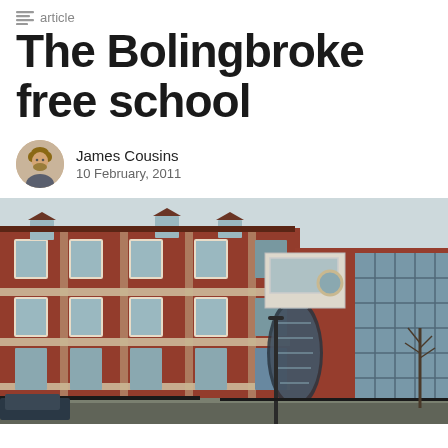article
The Bolingbroke free school
James Cousins
10 February, 2011
[Figure (photo): Exterior photograph of a large red-brick multi-storey building, the Bolingbroke free school, taken from street level showing ornate Victorian/Edwardian architecture with white stone banding, large windows, and a curved glass corner section.]